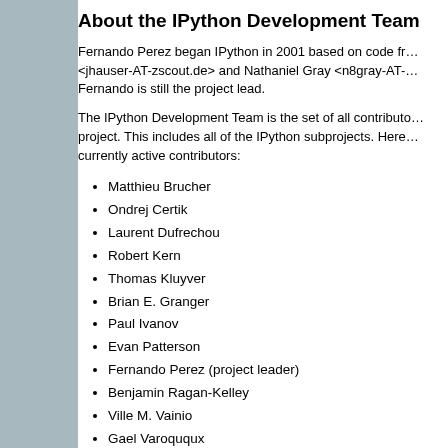About the IPython Development Team
Fernando Perez began IPython in 2001 based on code from <jhauser-AT-zscout.de> and Nathaniel Gray <n8gray-AT-...>. Fernando is still the project lead.
The IPython Development Team is the set of all contributors to the IPython project. This includes all of the IPython subprojects. Here are the currently active contributors:
Matthieu Brucher
Ondrej Certik
Laurent Dufrechou
Robert Kern
Thomas Kluyver
Brian E. Granger
Paul Ivanov
Evan Patterson
Fernando Perez (project leader)
Benjamin Ragan-Kelley
Ville M. Vainio
Gael Varoququx